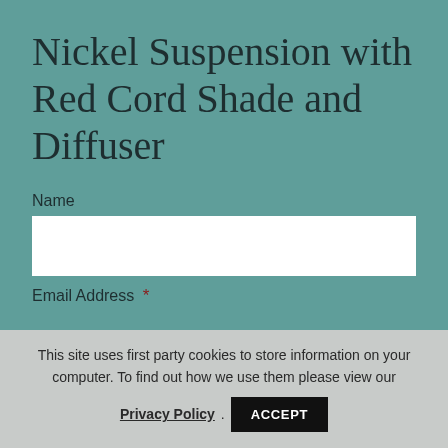Nickel Suspension with Red Cord Shade and Diffuser
Name
Email Address *
This site uses first party cookies to store information on your computer. To find out how we use them please view our Privacy Policy. ACCEPT